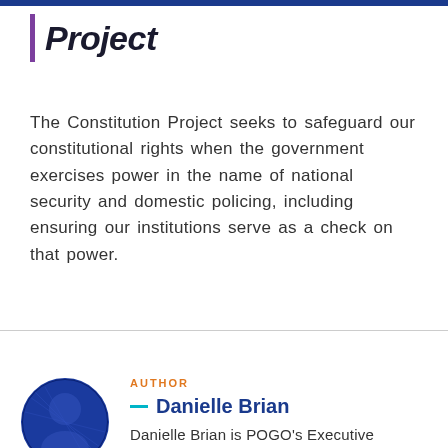Project
The Constitution Project seeks to safeguard our constitutional rights when the government exercises power in the name of national security and domestic policing, including ensuring our institutions serve as a check on that power.
AUTHOR
Danielle Brian
Danielle Brian is POGO's Executive Director